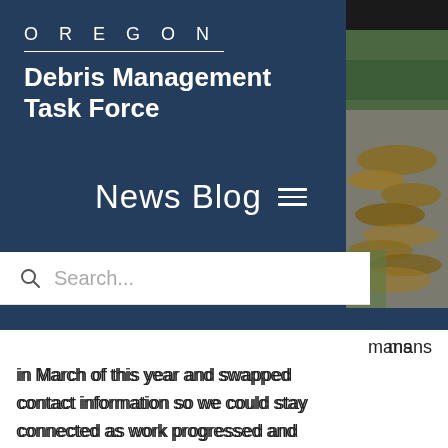OREGON
Debris Management Task Force
News Blog
[Figure (photo): Photograph of debris/logs piled along a road or outdoor area, taken from above, visible in the upper right corner of the page header.]
Search...
...mans in March of this year and swapped contact information so we could stay connected as work progressed and they made strides to get back into their home.
What began as occasional check-ins for progress updates turned into regular calls and texts to touch base on anything from health procedures, to holiday greetings and the sharing...